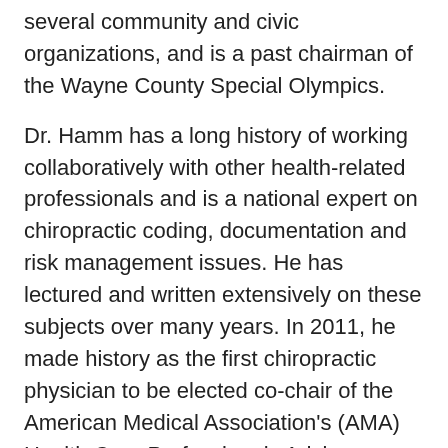several community and civic organizations, and is a past chairman of the Wayne County Special Olympics.
Dr. Hamm has a long history of working collaboratively with other health-related professionals and is a national expert on chiropractic coding, documentation and risk management issues. He has lectured and written extensively on these subjects over many years. In 2011, he made history as the first chiropractic physician to be elected co-chair of the American Medical Association's (AMA) Health Care Professionals Advisory Committee Review Board (HCPAC). HCPAC develops recommendations on values for new and revised CPT® codes.